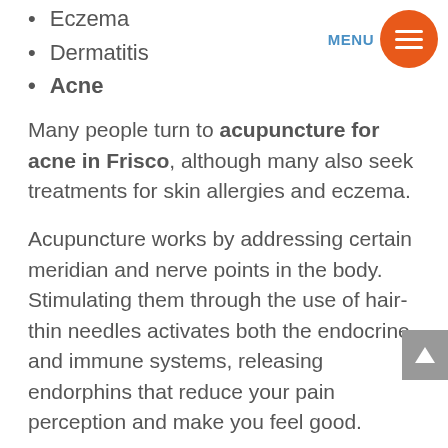Eczema
Dermatitis
Acne
Many people turn to acupuncture for acne in Frisco, although many also seek treatments for skin allergies and eczema.
Acupuncture works by addressing certain meridian and nerve points in the body. Stimulating them through the use of hair-thin needles activates both the endocrine and immune systems, releasing endorphins that reduce your pain perception and make you feel good.
Acupuncture also accelerates the